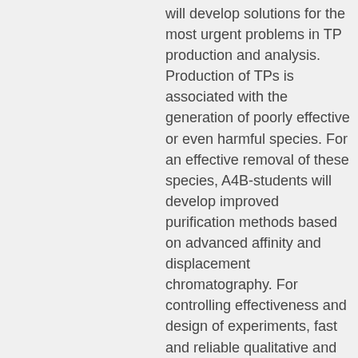will develop solutions for the most urgent problems in TP production and analysis. Production of TPs is associated with the generation of poorly effective or even harmful species. For an effective removal of these species, A4B-students will develop improved purification methods based on advanced affinity and displacement chromatography. For controlling effectiveness and design of experiments, fast and reliable qualitative and quantitative detection methods are required. The development of these analytical methods will focus on the chemical composition of TP-S including their glycans and other posttranslational modifications (PTMs). We will use high-end electrophoretic, liquid chromatographic, and mass spectrometry approaches in combination with bioinformatics. The developed methods will be tested and used for improving protein